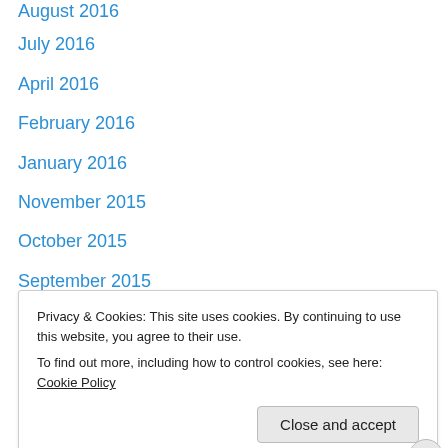August 2016
July 2016
April 2016
February 2016
January 2016
November 2015
October 2015
September 2015
August 2015
June 2015
March 2015
February 2015
January 2015
October 2014
Privacy & Cookies: This site uses cookies. By continuing to use this website, you agree to their use.
To find out more, including how to control cookies, see here: Cookie Policy